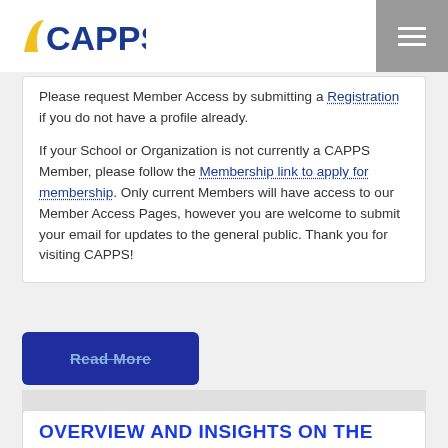CAPPS
Please request Member Access by submitting a Registration if you do not have a profile already.

If your School or Organization is not currently a CAPPS Member, please follow the Membership link to apply for membership. Only current Members will have access to our Member Access Pages, however you are welcome to submit your email for updates to the general public. Thank you for visiting CAPPS!
Read More
OVERVIEW AND INSIGHTS ON THE NEW SEA